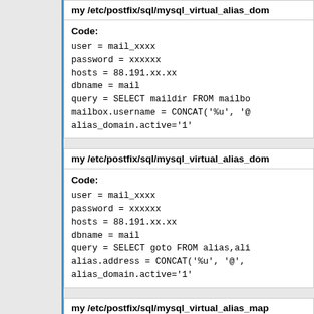my /etc/postfix/sql/mysql_virtual_alias_dom
Code:
user = mail_xxxx
password = xxxxxx
hosts = 88.191.xx.xx
dbname = mail
query = SELECT maildir FROM mailbo
mailbox.username = CONCAT('%u', '@
alias_domain.active='1'
my /etc/postfix/sql/mysql_virtual_alias_dom
Code:
user = mail_xxxx
password = xxxxxx
hosts = 88.191.xx.xx
dbname = mail
query = SELECT goto FROM alias,ali
alias.address = CONCAT('%u', '@',
alias_domain.active='1'
my /etc/postfix/sql/mysql_virtual_alias_map
Code: